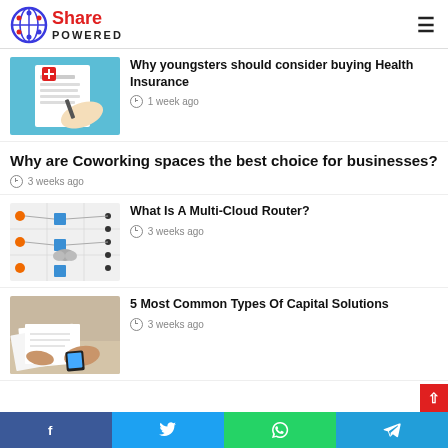Share POWERED
[Figure (photo): Health Insurance document with pen and hand illustration]
Why youngsters should consider buying Health Insurance
1 week ago
Why are Coworking spaces the best choice for businesses?
3 weeks ago
[Figure (screenshot): Multi-cloud network router architecture diagram]
What Is A Multi-Cloud Router?
3 weeks ago
[Figure (photo): People reviewing financial documents at a table]
5 Most Common Types Of Capital Solutions
3 weeks ago